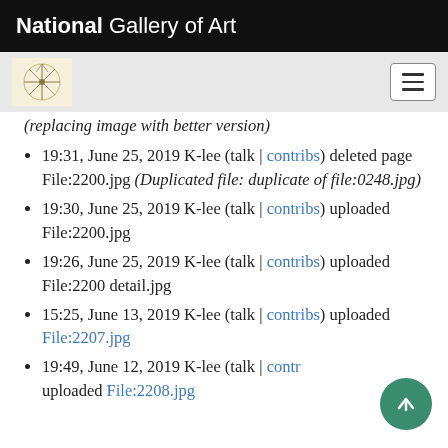National Gallery of Art
(replacing image with better version)
19:31, June 25, 2019 K-lee (talk | contribs) deleted page File:2200.jpg (Duplicated file: duplicate of file:0248.jpg)
19:30, June 25, 2019 K-lee (talk | contribs) uploaded File:2200.jpg
19:26, June 25, 2019 K-lee (talk | contribs) uploaded File:2200 detail.jpg
15:25, June 13, 2019 K-lee (talk | contribs) uploaded File:2207.jpg
19:49, June 12, 2019 K-lee (talk | contribs) uploaded File:2208.jpg